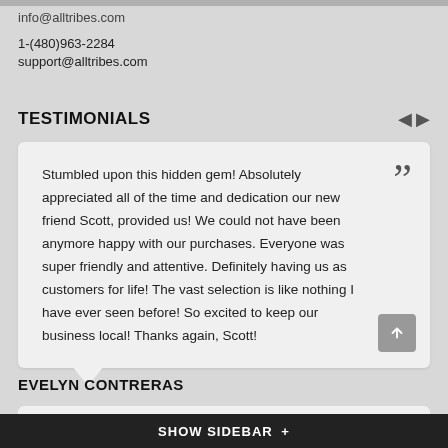info@alltribes.com
1-(480)963-2284
support@alltribes.com
TESTIMONIALS
Stumbled upon this hidden gem! Absolutely appreciated all of the time and dedication our new friend Scott, provided us! We could not have been anymore happy with our purchases. Everyone was super friendly and attentive. Definitely having us as customers for life! The vast selection is like nothing I have ever seen before! So excited to keep our business local! Thanks again, Scott!
EVELYN CONTRERAS
Wonderful people with whom to do business. Magnificent products, top-notch service. Hats off to Richard and company!!!
SHOW SIDEBAR +